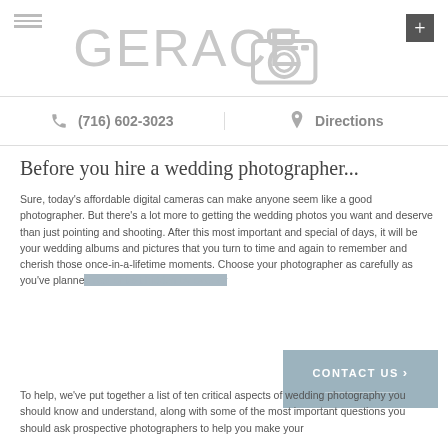[Figure (logo): Gerace Photography logo with large camera icon and text GERACE in light gray]
(716) 602-3023
Directions
Before you hire a wedding photographer...
Sure, today's affordable digital cameras can make anyone seem like a good photographer. But there's a lot more to getting the wedding photos you want and deserve than just pointing and shooting. After this most important and special of days, it will be your wedding albums and pictures that you turn to time and again to remember and cherish those once-in-a-lifetime moments. Choose your photographer as carefully as you've planned your wedding, and you'll still be enjoying those images y…
To help, we've put together a list of ten critical aspects of wedding photography you should know and understand, along with some of the most important questions you should ask prospective photographers to help you make your…